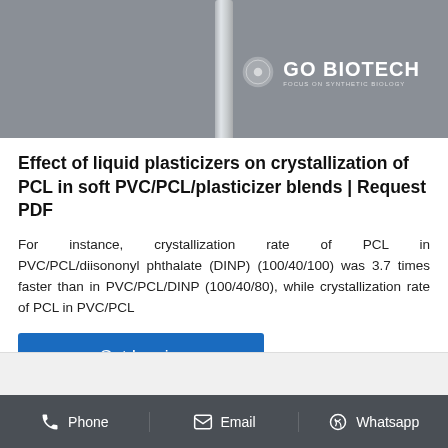[Figure (photo): Close-up photo of a metallic/glass laboratory rod or tube against a grey background, with the GO BIOTECH logo visible in the upper right area of the image]
Effect of liquid plasticizers on crystallization of PCL in soft PVC/PCL/plasticizer blends | Request PDF
For instance, crystallization rate of PCL in PVC/PCL/diisononyl phthalate (DINP) (100/40/100) was 3.7 times faster than in PVC/PCL/DINP (100/40/80), while crystallization rate of PCL in PVC/PCL
Get Inquiry
Phone   Email   Whatsapp